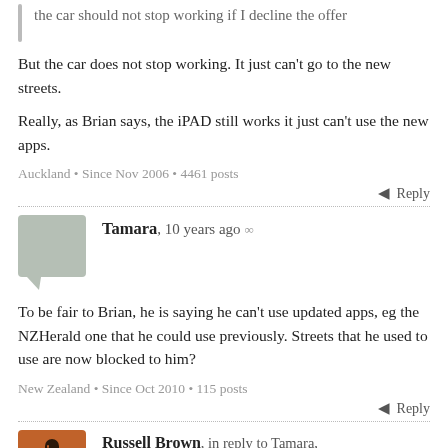the car should not stop working if I decline the offer
But the car does not stop working. It just can't go to the new streets.
Really, as Brian says, the iPAD still works it just can't use the new apps.
Auckland • Since Nov 2006 • 4461 posts
Reply
Tamara, 10 years ago ∞
To be fair to Brian, he is saying he can't use updated apps, eg the NZHerald one that he could use previously. Streets that he used to use are now blocked to him?
New Zealand • Since Oct 2010 • 115 posts
Reply
Russell Brown, in reply to Tamara, 10 years ago ∞